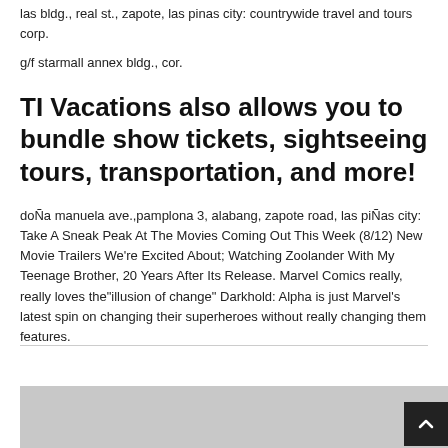las bldg., real st., zapote, las pinas city: countrywide travel and tours corp.
g/f starmall annex bldg., cor.
TI Vacations also allows you to bundle show tickets, sightseeing tours, transportation, and more!
doÑa manuela ave.,pamplona 3, alabang, zapote road, las piÑas city: Take A Sneak Peak At The Movies Coming Out This Week (8/12) New Movie Trailers We're Excited About; Watching Zoolander With My Teenage Brother, 20 Years After Its Release. Marvel Comics really, really loves the"illusion of change" Darkhold: Alpha is just Marvel's latest spin on changing their superheroes without really changing them features.